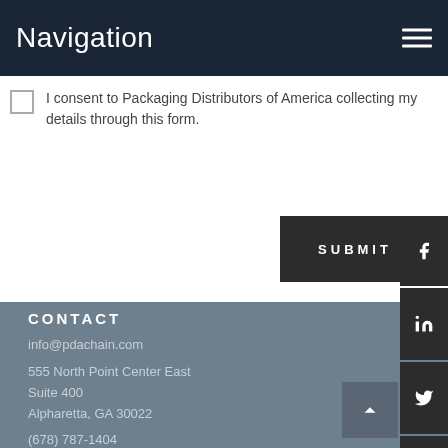Navigation
I consent to Packaging Distributors of America collecting my details through this form.
SUBMIT
CONTACT
info@pdachain.com
555 North Point Center East
Suite 400
Alpharetta, GA 30022
(678) 787-1404